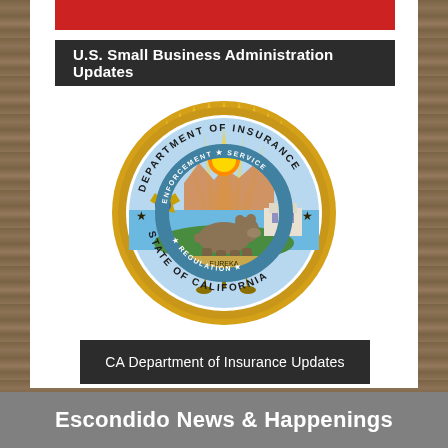U.S. Small Business Administration Updates
[Figure (logo): California Department of Insurance official seal — circular seal with gold sunburst border, text reading DEPARTMENT OF INSURANCE STATE OF CALIFORNIA with ENFORCEMENT SERVICE REGULATION, featuring California grizzly bear in center, radiating sunburst, scales of justice at bottom, police badge on left, state capitol building on right, and stars on either side.]
CA Department of Insurance Updates
Escondido News & Happenings